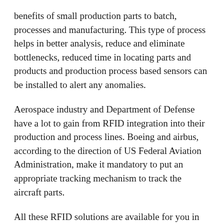benefits of small production parts to batch, processes and manufacturing. This type of process helps in better analysis, reduce and eliminate bottlenecks, reduced time in locating parts and products and production process based sensors can be installed to alert any anomalies.
Aerospace industry and Department of Defense have a lot to gain from RFID integration into their production and process lines. Boeing and airbus, according to the direction of US Federal Aviation Administration, make it mandatory to put an appropriate tracking mechanism to track the aircraft parts.
All these RFID solutions are available for you in under the roof of Agilesense. Find more about Rfid Applications on Agilesense.com, as your default RFID solution provider.